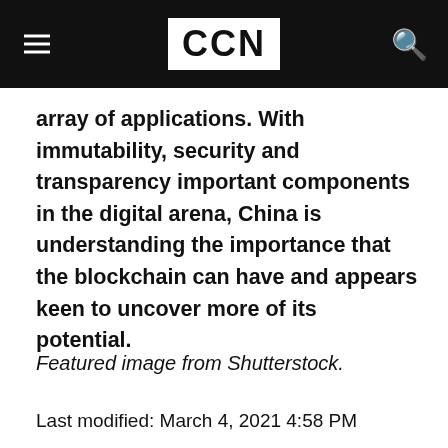CCN
array of applications. With immutability, security and transparency important components in the digital arena, China is understanding the importance that the blockchain can have and appears keen to uncover more of its potential.
Featured image from Shutterstock.
Last modified: March 4, 2021 4:58 PM
By using CCN.com you consent to our  privacy & cookie policy.
Continue